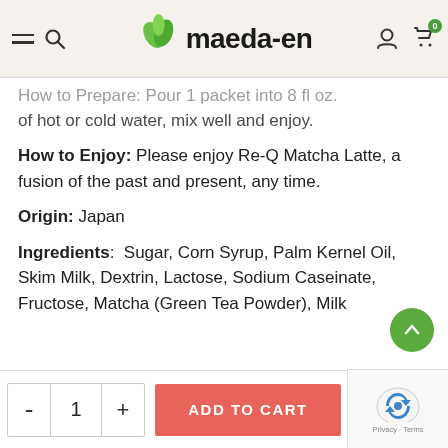maeda-en
How to Prepare: Pour 1 packet into 8 fl oz. of hot or cold water, mix well and enjoy.
How to Enjoy: Please enjoy Re-Q Matcha Latte, a fusion of the past and present, any time.
Origin: Japan
Ingredients: Sugar, Corn Syrup, Palm Kernel Oil, Skim Milk, Dextrin, Lactose, Sodium Caseinate, Fructose, Matcha (Green Tea Powder), Milk